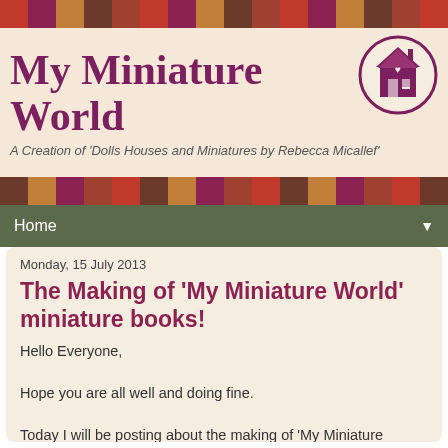[Figure (illustration): Blog header banner with quilt patchwork pattern top and bottom strips in reds, browns, and burgundy. Center area shows 'My Miniature World' title in large purple/burgundy serif font, subtitle 'A Creation of Dolls Houses and Miniatures by Rebecca Micallef' in smaller italic text. A circular logo with a house illustration appears on the right side.]
Home
Monday, 15 July 2013
The Making of 'My Miniature World' miniature books!
Hello Everyone,

Hope you are all well and doing fine.

Today I will be posting about the making of 'My Miniature World's books. After the great demand I had with the first two books, I have decided to make one post for all the books that I have made so far and for those books that are still to come.  Basically they